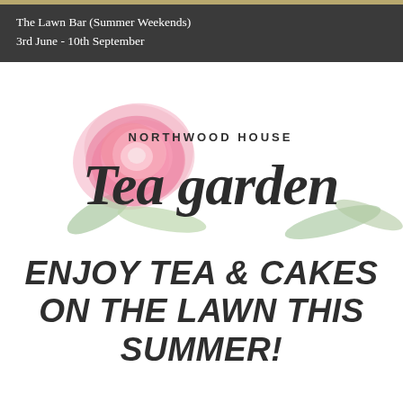The Lawn Bar (Summer Weekends)
3rd June - 10th September
[Figure (logo): Northwood House Tea Garden logo with a pink peony flower watercolor illustration and cursive script text reading 'Northwood House Tea Garden']
ENJOY TEA & CAKES ON THE LAWN THIS SUMMER!